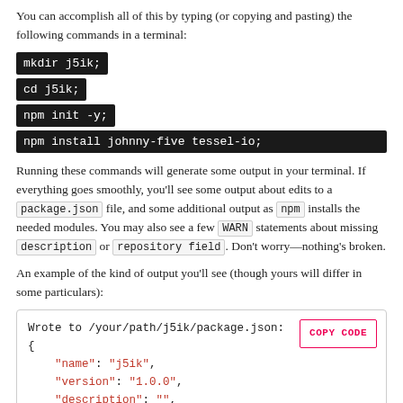You can accomplish all of this by typing (or copying and pasting) the following commands in a terminal:
mkdir j5ik;
cd j5ik;
npm init -y;
npm install johnny-five tessel-io;
Running these commands will generate some output in your terminal. If everything goes smoothly, you'll see some output about edits to a package.json file, and some additional output as npm installs the needed modules. You may also see a few WARN statements about missing description or repository field. Don't worry—nothing's broken.
An example of the kind of output you'll see (though yours will differ in some particulars):
[Figure (screenshot): Code block showing JSON output: Wrote to /your/path/j5ik/package.json: { "name": "j5ik", "version": "1.0.0", "description": "", "main": "index.js", "scripts": {]